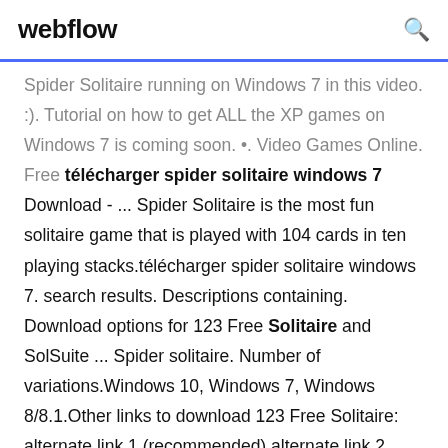webflow
Spider Solitaire running on Windows 7 in this video. :). Tutorial on how to get ALL the XP games on Windows 7 is coming soon. •. Video Games Online. Free télécharger spider solitaire windows 7 Download - ... Spider Solitaire is the most fun solitaire game that is played with 104 cards in ten playing stacks.télécharger spider solitaire windows 7. search results. Descriptions containing. Download options for 123 Free Solitaire and SolSuite ... Spider solitaire. Number of variations.Windows 10, Windows 7, Windows 8/8.1.Other links to download 123 Free Solitaire: alternate link 1 (recommended) alternate link 2.